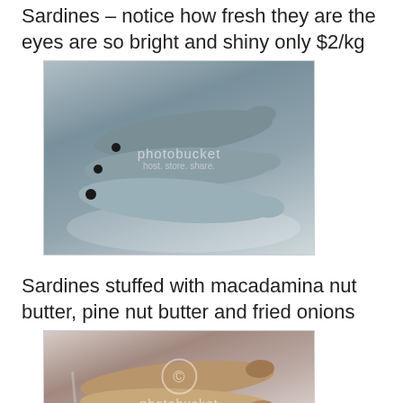Sardines – notice how fresh they are the eyes are so bright and shiny only $2/kg
[Figure (photo): Photo of fresh whole sardines on a white plate, with Photobucket watermark overlay]
Sardines stuffed with macadamina nut butter, pine nut butter and fried onions
[Figure (photo): Photo of stuffed sardines on a plate, with Photobucket watermark overlay]